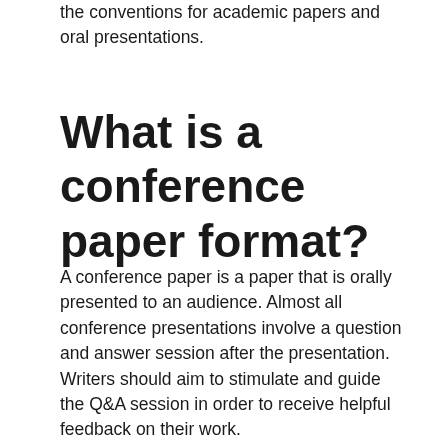the conventions for academic papers and oral presentations.
What is a conference paper format?
A conference paper is a paper that is orally presented to an audience. Almost all conference presentations involve a question and answer session after the presentation. Writers should aim to stimulate and guide the Q&A session in order to receive helpful feedback on their work.